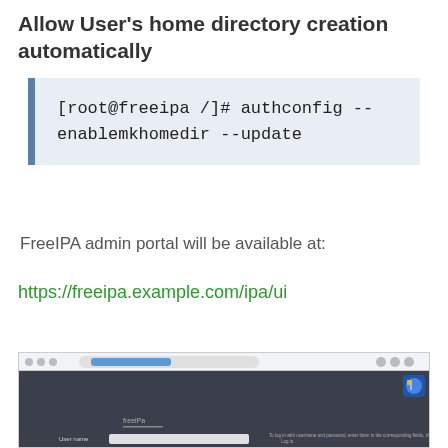Allow User’s home directory creation automatically
[root@freeipa /]# authconfig --enablemkhomedir --update
FreeIPA admin portal will be available at:
https://freeipa.example.com/ipa/ui
[Figure (screenshot): Screenshot of FreeIPA admin portal login page in a browser window, showing a dark background with a FreeIPA logo, username field, and text instructions.]